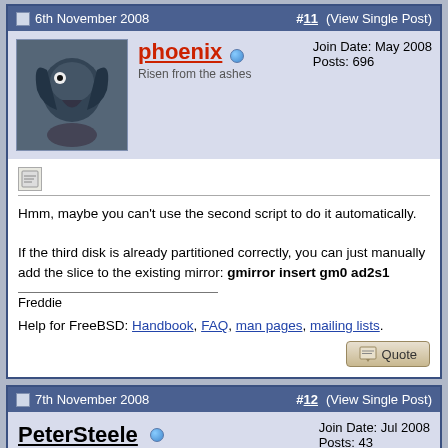6th November 2008  #11  (View Single Post)
[Figure (photo): Avatar image of a bird/phoenix creature, dark feathers]
phoenix  Risen from the ashes  Join Date: May 2008  Posts: 696
Hmm, maybe you can't use the second script to do it automatically.

If the third disk is already partitioned correctly, you can just manually add the slice to the existing mirror: gmirror insert gm0 ad2s1

Freddie

Help for FreeBSD: Handbook, FAQ, man pages, mailing lists.
7th November 2008  #12  (View Single Post)
PeterSteele  Port Guard  Join Date: Jul 2008  Posts: 43